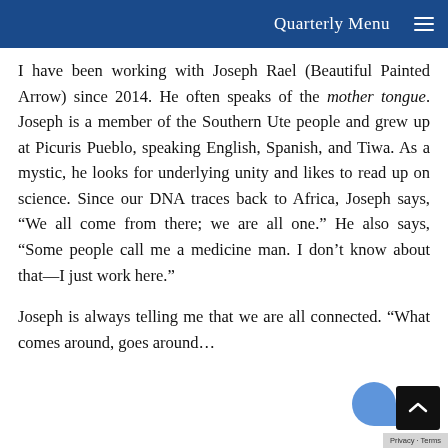Quarterly Menu
I have been working with Joseph Rael (Beautiful Painted Arrow) since 2014. He often speaks of the mother tongue. Joseph is a member of the Southern Ute people and grew up at Picuris Pueblo, speaking English, Spanish, and Tiwa. As a mystic, he looks for underlying unity and likes to read up on science. Since our DNA traces back to Africa, Joseph says, “We all come from there; we are all one.” He also says, “Some people call me a medicine man. I don’t know about that—I just work here.”
Joseph is always telling me that we are all connected. “What comes around, goes around…